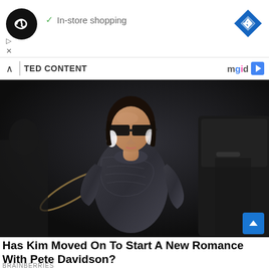[Figure (screenshot): Ad banner with black circle logo containing infinity-like symbol, checkmark 'In-store shopping' text, and blue diamond navigation icon on the right. Play and close controls visible at lower left.]
✓ In-store shopping
TED CONTENT
[Figure (photo): Woman wearing dark rectangular sunglasses and a dark charcoal velvet or textured long-sleeve turtleneck outfit, with large crystal/diamond earrings, standing next to a black SUV door at night. Background is dark.]
Has Kim Moved On To Start A New Romance With Pete Davidson?
BRAINBERRIES